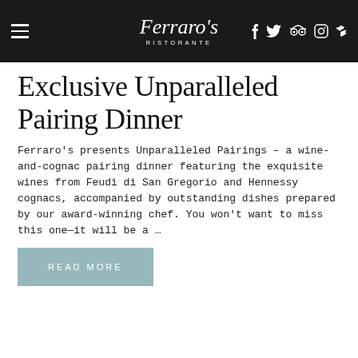Ferraro's Ristorante
Exclusive Unparalleled Pairing Dinner
Ferraro's presents Unparalleled Pairings - a wine-and-cognac pairing dinner featuring the exquisite wines from Feudi di San Gregorio and Hennessy cognacs, accompanied by outstanding dishes prepared by our award-winning chef. You won't want to miss this one—it will be a ...
READ MORE